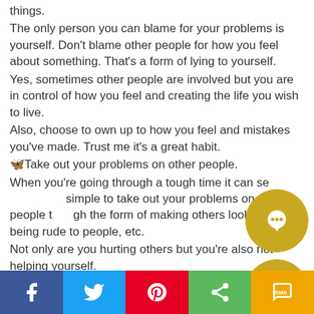things. The only person you can blame for your problems is yourself. Don't blame other people for how you feel about something. That's a form of lying to yourself. Yes, sometimes other people are involved but you are in control of how you feel and creating the life you wish to live. Also, choose to own up to how you feel and mistakes you've made. Trust me it's a great habit. 🦋Take out your problems on other people. When you're going through a tough time it can seem simple to take out your problems on other people through the form of making others look bad, being rude to people, etc. Not only are you hurting others but you're also not helping yourself. Taking out your problems with other people just like talking behind their back (which is a form of this) will NOT make you feel better about yourself.
[Figure (infographic): Two golden circular social media buttons overlaid on the text — one with a chat/comment icon and one with a Messenger icon]
[Figure (infographic): Bottom share bar with five buttons: Facebook (blue), Twitter (light blue), Pinterest (red), Share (green), SMS (yellow/gold)]